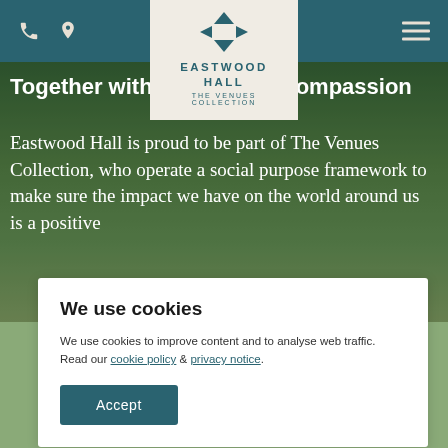Eastwood Hall – The Venues Collection navigation bar with phone icon, location icon, logo, and hamburger menu
[Figure (logo): Eastwood Hall – The Venues Collection logo with abstract arrow/compass symbol in dark teal, name in spaced caps, and tagline 'THE VENUES COLLECTION']
Together with Values and Compassion
Eastwood Hall is proud to be part of The Venues Collection, who operate a social purpose framework to make sure the impact we have on the world around us is a positive
We use cookies
We use cookies to improve content and to analyse web traffic. Read our cookie policy & privacy notice.
Accept